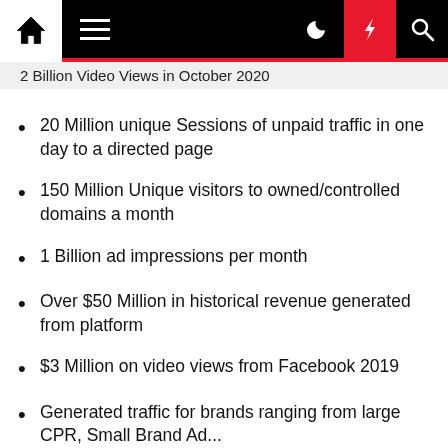Navigation bar with home, menu, dark mode, lightning, and search icons
2 Billion Video Views in October 2020
20 Million unique Sessions of unpaid traffic in one day to a directed page
150 Million Unique visitors to owned/controlled domains a month
1 Billion ad impressions per month
Over $50 Million in historical revenue generated from platform
$3 Million on video views from Facebook 2019
Generated traffic for brands ranging from large CPR, Small Brand Ad...